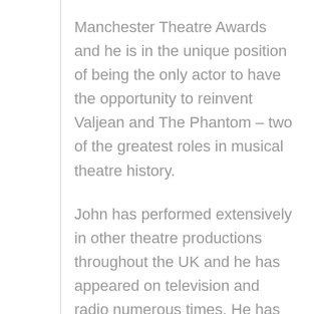Manchester Theatre Awards and he is in the unique position of being the only actor to have the opportunity to reinvent Valjean and The Phantom – two of the greatest roles in musical theatre history.

John has performed extensively in other theatre productions throughout the UK and he has appeared on television and radio numerous times. He has performed as a soloist in concerts all over the world